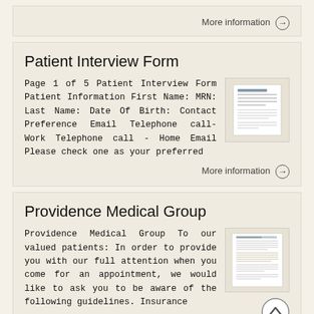More information →
Patient Interview Form
Page 1 of 5 Patient Interview Form Patient Information First Name: MRN: Last Name: Date Of Birth: Contact Preference Email Telephone call- Work Telephone call - Home Email Please check one as your preferred
More information →
Providence Medical Group
Providence Medical Group To our valued patients: In order to provide you with our full attention when you come for an appointment, we would like to ask you to be aware of the following guidelines. Insurance
More information →